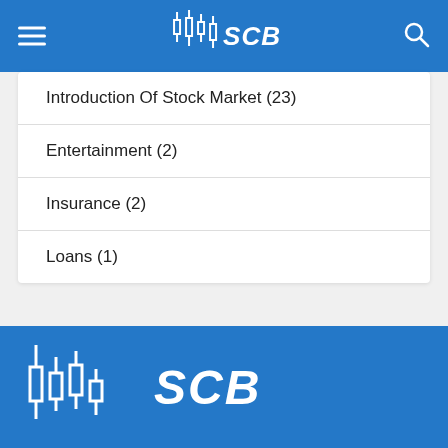SCB
Introduction Of Stock Market (23)
Entertainment (2)
Insurance (2)
Loans (1)
[Figure (logo): SCB candlestick chart logo with text SCB in white italic on blue background footer]